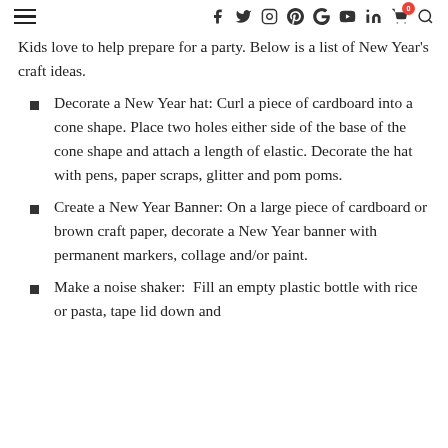≡  f  🐦  ⊙  𝓟  G+  ▶  in  🛒⁰  🔍
Kids love to help prepare for a party. Below is a list of New Year's craft ideas.
Decorate a New Year hat: Curl a piece of cardboard into a cone shape. Place two holes either side of the base of the cone shape and attach a length of elastic. Decorate the hat with pens, paper scraps, glitter and pom poms.
Create a New Year Banner: On a large piece of cardboard or brown craft paper, decorate a New Year banner with permanent markers, collage and/or paint.
Make a noise shaker:  Fill an empty plastic bottle with rice or pasta, tape lid down and